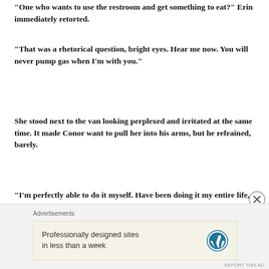“One who wants to use the restroom and get something to eat?” Erin immediately retorted.
“That was a rhetorical question, bright eyes. Hear me now. You will never pump gas when I’m with you.”
She stood next to the van looking perplexed and irritated at the same time. It made Conor want to pull her into his arms, but he refrained, barely.
“I’m perfectly able to do it myself. Have been doing it my entire life, in fact.”
Advertisements
Professionally designed sites in less than a week